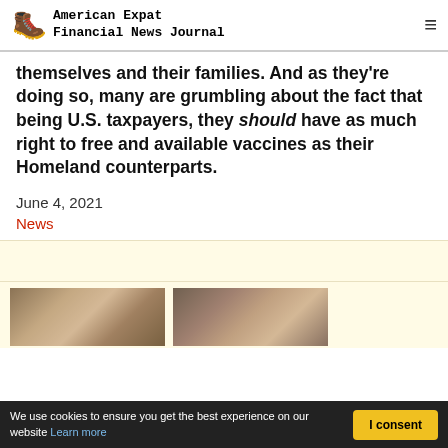American Expat Financial News Journal
themselves and their families. And as they're doing so, many are grumbling about the fact that being U.S. taxpayers, they should have as much right to free and available vaccines as their Homeland counterparts.
June 4, 2021
News
[Figure (photo): Two images partially visible at bottom of page - appear to be urban/street photography]
We use cookies to ensure you get the best experience on our website Learn more